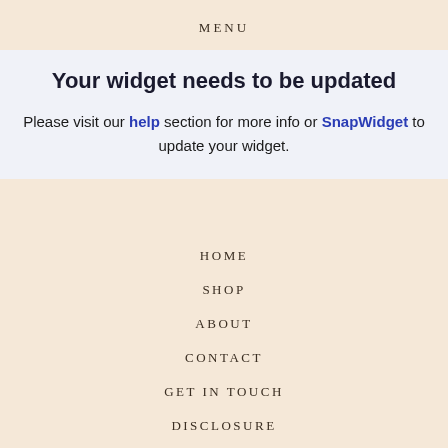MENU
Your widget needs to be updated
Please visit our help section for more info or SnapWidget to update your widget.
HOME
SHOP
ABOUT
CONTACT
GET IN TOUCH
DISCLOSURE